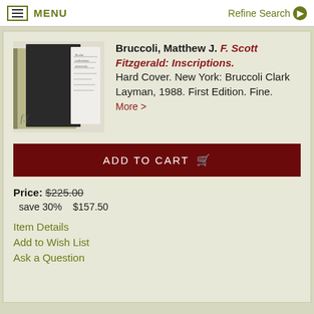MENU | Refine Search
[Figure (photo): Photo of a book - F. Scott Fitzgerald: Inscriptions, showing front and back cover with handwritten inscription visible]
Bruccoli, Matthew J. F. Scott Fitzgerald: Inscriptions. Hard Cover. New York: Bruccoli Clark Layman, 1988. First Edition. Fine. More >
ADD TO CART
Price: $225.00
save 30%    $157.50
Item Details
Add to Wish List
Ask a Question